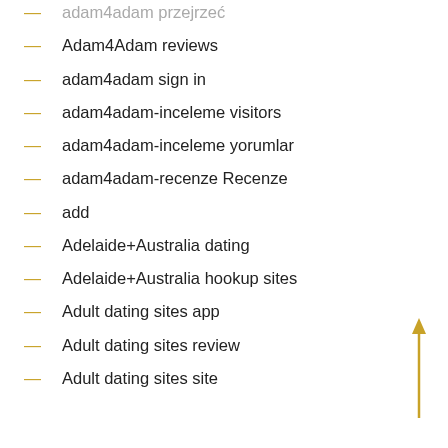adam4adam przejrzeć
Adam4Adam reviews
adam4adam sign in
adam4adam-inceleme visitors
adam4adam-inceleme yorumlar
adam4adam-recenze Recenze
add
Adelaide+Australia dating
Adelaide+Australia hookup sites
Adult dating sites app
Adult dating sites review
Adult dating sites site